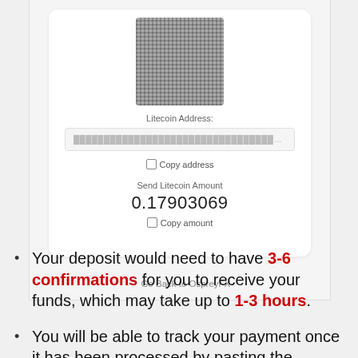[Figure (screenshot): Screenshot of a Litecoin deposit interface showing a blurred QR code, a blurred Litecoin address field with a Copy address button, and a Send Litecoin Amount of 0.17903069 with a Copy amount button. A 'Go Back to OspreyFX' link appears at the bottom.]
Your deposit would need to have 3-6 confirmations for you to receive your funds, which may take up to 1-3 hours.
You will be able to track your payment once it has been processed by pasting the unique Litecoin address for your transaction into the